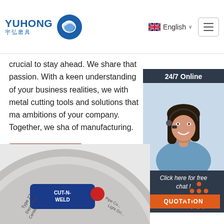YUHONG 宇弘磨具 | English
crucial to stay ahead. We share that passion. With a keen understanding of your business realities, we with metal cutting tools and solutions that ma ambitions of your company. Together, we sha of manufacturing.
Get Price
[Figure (photo): 24/7 Online chat widget with a female customer service representative wearing a headset, with 'Click here for free chat!' and 'QUOTATION' button]
[Figure (photo): Cut-N-Weld Type 27 Depressed Center grinding disc - Pipe Conditioning Light Grinding]
[Figure (other): TOP arrow icon in orange]